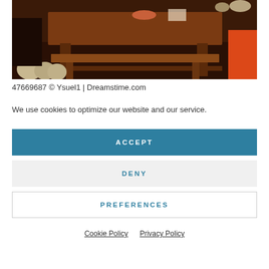[Figure (photo): Dark interior room with a wooden table and bench, burlap sacks on the floor, and colorful items on shelves in background]
47669687 © Ysuel1 | Dreamstime.com
We use cookies to optimize our website and our service.
ACCEPT
DENY
PREFERENCES
Cookie Policy   Privacy Policy